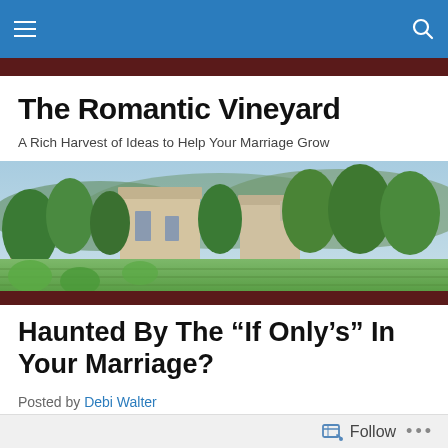Navigation bar with hamburger menu and search icon
The Romantic Vineyard
A Rich Harvest of Ideas to Help Your Marriage Grow
[Figure (photo): Landscape photo of a vineyard estate with stone buildings, lush green trees, and hills in the background under a blue sky]
Haunted By The “If Only’s” In Your Marriage?
Posted by Debi Walter
Follow